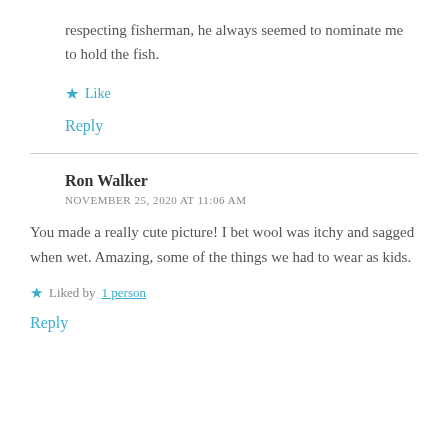respecting fisherman, he always seemed to nominate me to hold the fish.
★ Like
Reply
Ron Walker
NOVEMBER 25, 2020 AT 11:06 AM
You made a really cute picture! I bet wool was itchy and sagged when wet. Amazing, some of the things we had to wear as kids.
★ Liked by 1 person
Reply